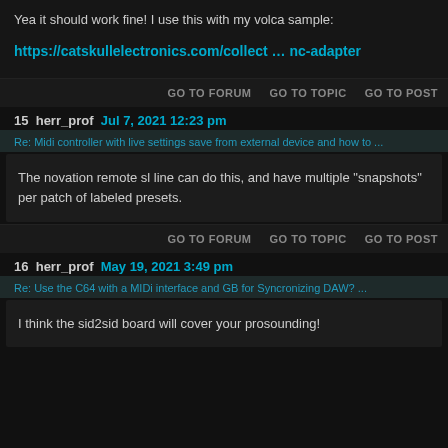Yea it should work fine! I use this with my volca sample:
https://catskullelectronics.com/collect … nc-adapter
GO TO FORUM   GO TO TOPIC   GO TO POST
15 herr_prof Jul 7, 2021 12:23 pm
The novation remote sl line can do this, and have multiple "snapshots" per patch of labeled presets.
GO TO FORUM   GO TO TOPIC   GO TO POST
16 herr_prof May 19, 2021 3:49 pm
I think the sid2sid board will cover your prosounding!